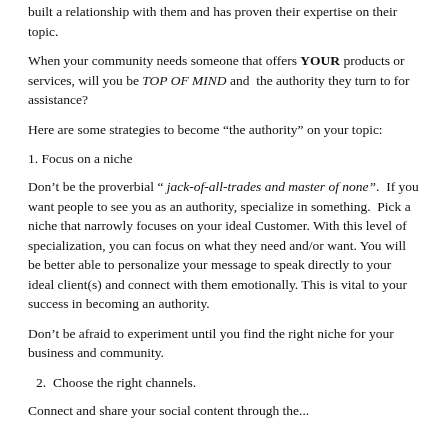built a relationship with them and has proven their expertise on their topic.
When your community needs someone that offers YOUR products or services, will you be TOP OF MIND and the authority they turn to for assistance?
Here are some strategies to become “the authority” on your topic:
1. Focus on a niche
Don’t be the proverbial “ jack-of-all-trades and master of none”. If you want people to see you as an authority, specialize in something. Pick a niche that narrowly focuses on your ideal Customer. With this level of specialization, you can focus on what they need and/or want. You will be better able to personalize your message to speak directly to your ideal client(s) and connect with them emotionally. This is vital to your success in becoming an authority.
Don’t be afraid to experiment until you find the right niche for your business and community.
2. Choose the right channels.
Connect and share your social content through the...